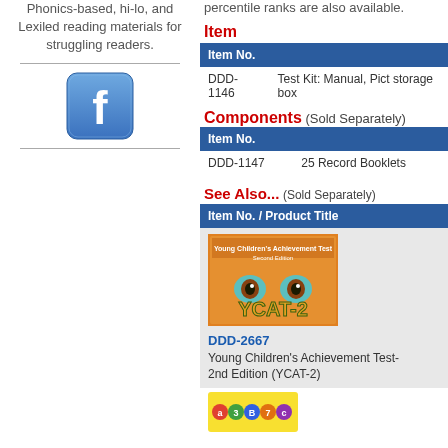Phonics-based, hi-lo, and Lexiled reading materials for struggling readers.
[Figure (logo): Facebook logo icon, blue square with white 'f']
percentile ranks are also available.
Item
| Item No. |  |
| --- | --- |
| DDD-1146 | Test Kit: Manual, Pict storage box |
Components (Sold Separately)
| Item No. |  |
| --- | --- |
| DDD-1147 | 25 Record Booklets |
See Also... (Sold Separately)
| Item No. / Product Title |
| --- |
| DDD-2667
Young Children's Achievement Test-2nd Edition (YCAT-2) |
[Figure (illustration): Book cover for Young Children's Achievement Test Second Edition (YCAT-2), orange cover with cartoon eyes]
[Figure (illustration): Colorful letters/numbers product image, partially visible at bottom]